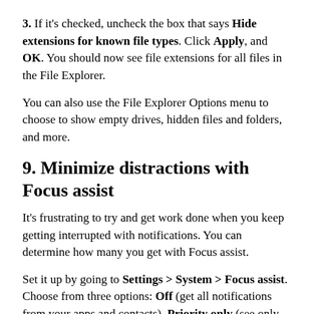3. If it's checked, uncheck the box that says Hide extensions for known file types. Click Apply, and OK. You should now see file extensions for all files in the File Explorer.
You can also use the File Explorer Options menu to choose to show empty drives, hidden files and folders, and more.
9. Minimize distractions with Focus assist
It's frustrating to try and get work done when you keep getting interrupted with notifications. You can determine how many you get with Focus assist.
Set it up by going to Settings > System > Focus assist. Choose from three options: Off (get all notifications from your apps and contacts), Priority only (see only selected notifications from a priority list that you customize, and send the rest to your